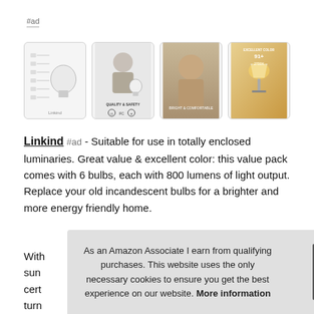#ad
[Figure (photo): Four product images of Linkind LED light bulbs showing specs, quality and safety certifications, a woman smiling, and a lamp on a bedside table]
Linkind #ad - Suitable for use in totally enclosed luminaries. Great value & excellent color: this value pack comes with 6 bulbs, each with 800 lumens of light output. Replace your old incandescent bulbs for a brighter and more energy friendly home.
With...sun...cert...turn...
As an Amazon Associate I earn from qualifying purchases. This website uses the only necessary cookies to ensure you get the best experience on our website. More information